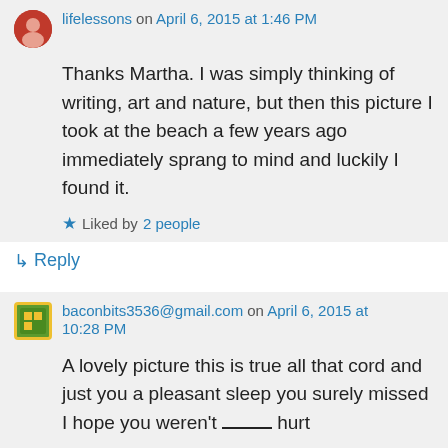lifelessons on April 6, 2015 at 1:46 PM
Thanks Martha. I was simply thinking of writing, art and nature, but then this picture I took at the beach a few years ago immediately sprang to mind and luckily I found it.
Liked by 2 people
Reply
baconbits3536@gmail.com on April 6, 2015 at 10:28 PM
A lovely picture this is true all that cord and just you a pleasant sleep you surely missed I hope you weren't _____ hurt